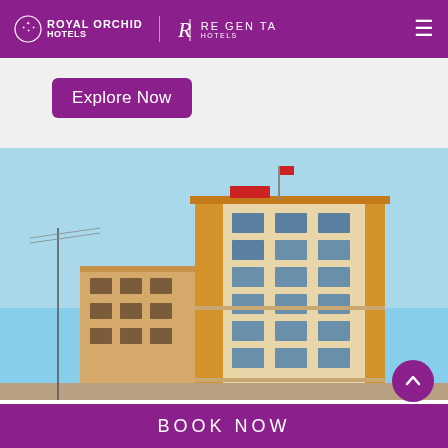Royal Orchid Hotels | Regenta Hotels
Explore Now
[Figure (photo): Exterior photo of a multi-story hotel building (Royal Orchid / Regenta Hotels property) against a clear blue sky. The building is tan/beige with orange accents, multiple floors of windows, and a flag on top.]
BOOK NOW